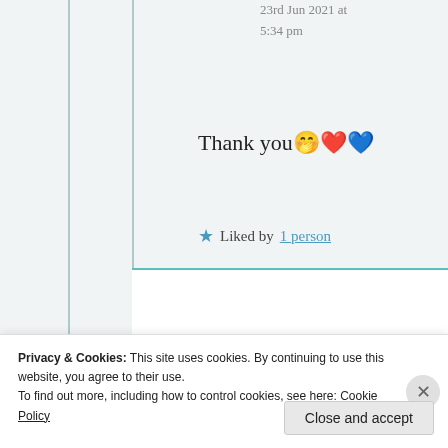23rd Jun 2021 at 5:34 pm
Thank you🤭❤️💙
★ Liked by 1 person
Suma Reddy
23rd Jun 2021 at 7:14 pm
Privacy & Cookies: This site uses cookies. By continuing to use this website, you agree to their use.
To find out more, including how to control cookies, see here: Cookie Policy